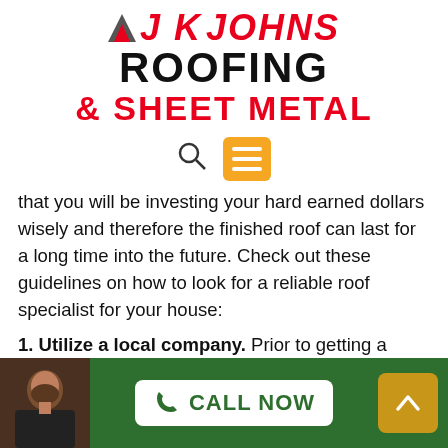[Figure (logo): JK Johns Roofing & Sheet Metal company logo with red and black lettering and a triangular icon]
[Figure (screenshot): Navigation bar with search icon and orange/yellow menu hamburger button]
that you will be investing your hard earned dollars wisely and therefore the finished roof can last for a long time into the future. Check out these guidelines on how to look for a reliable roof specialist for your house:
1. Utilize a local company. Prior to getting a contractor, be sure that they have a physical address in your city or county. Local contractors are more likely to be aware of the codes and building requirements in the area. They are also
[Figure (photo): Photo of a bearded man in a dark shirt, shown in the bottom-left corner of the green footer bar]
CALL NOW